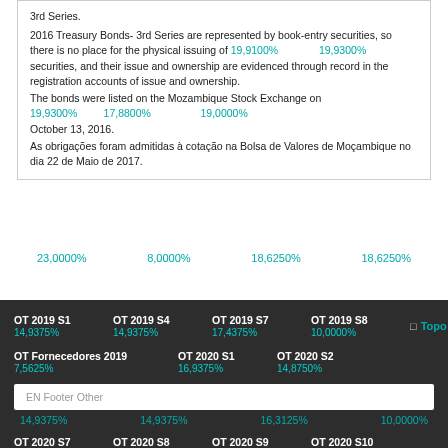3rd Series.
2016 Treasury Bonds- 3rd Series are represented by book-entry securities, so there is no place for the physical issuing of securities, and their issue and ownership are evidenced through record in the registration accounts of issue and ownership.
The bonds were listed on the Mozambique Stock Exchange on October 13, 2016.
As obrigações foram admitidas à cotação na Bolsa de Valores de Moçambique no dia 22 de Maio de 2017.
19,9100%   19,9300%
19,9300%   17,8800%   19,0000%
23,0000%   8,0000%   18,6250%   18,6250%
OT 2019 S1 14,9375%   OT 2019 S4 14,9375%   OT 2019 S7 17,4375%   OT 2019 S8 10,0000%
OT Fornecedores 2019 7,5625%   OT 2020 S1 16,9375%   OT 2020 S2 14,8750%
EN Footer Other
14,9375%   14,9375%   16,3125%   10,0000%
OT 2020 S7   OT 2020 S8   OT 2020 S9   OT 2020 S10